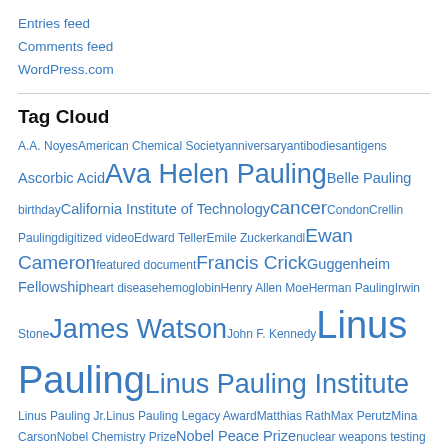Entries feed
Comments feed
WordPress.com
Tag Cloud
A.A. Noyes American Chemical Society anniversary antibodies antigens Ascorbic Acid Ava Helen Pauling Belle Pauling birthday California Institute of Technology cancer Condon Crellin Pauling digitized video Edward Teller Emile Zuckerkandl Ewan Cameron featured document Francis Crick Guggenheim Fellowship heart disease hemoglobin Henry Allen Moe Herman Pauling Irwin Stone James Watson John F. Kennedy Linus Pauling Linus Pauling Institute Linus Pauling Jr. Linus Pauling Legacy Award Matthias Rath Max Perutz Mina Carson Nobel Chemistry Prize Nobel Peace Prize nuclear weapons testing Oregon Oregon Agricultural